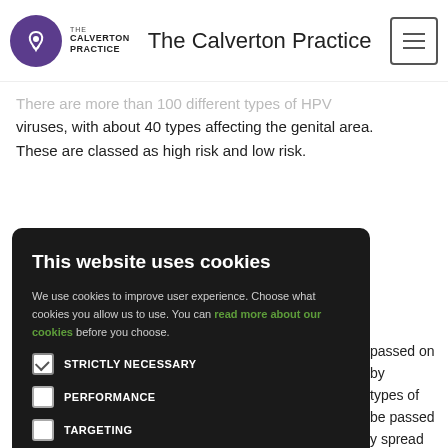The Calverton Practice
There are more than 100 different types of HPV viruses, with about 40 types affecting the genital area. These are classed as high risk and low risk.
This website uses cookies
We use cookies to improve user experience. Choose what cookies you allow us to use. You can read more about our cookies before you choose.
STRICTLY NECESSARY
PERFORMANCE
TARGETING
FUNCTIONALITY
ACCEPT ALL | DECLINE ALL
...passed on by types of be passed y spread ing sex. You and not have
...se genital rvical cancer. ves, but in time. HPV infects the cells of the surface of the cervix where it